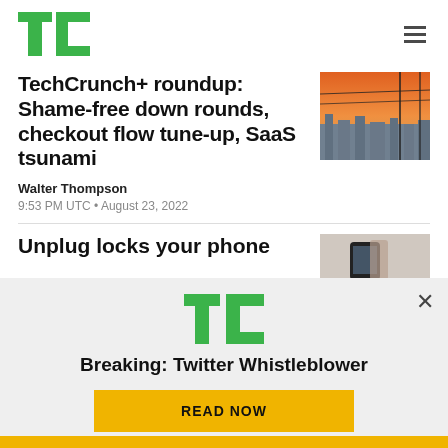TechCrunch logo + hamburger menu
TechCrunch+ roundup: Shame-free down rounds, checkout flow tune-up, SaaS tsunami
Walter Thompson
9:53 PM UTC • August 23, 2022
[Figure (photo): Aerial city view at sunset with power lines in foreground]
Unplug locks your phone
[Figure (photo): Partial image of hand holding phone]
[Figure (screenshot): TechCrunch modal popup: TC logo, Breaking: Twitter Whistleblower, READ NOW button]
Breaking: Twitter Whistleblower
READ NOW